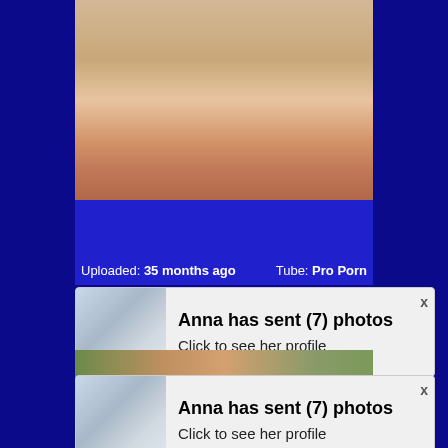[Figure (photo): Close-up photo area with blue bar below]
Uploaded: 35 months ago    Tube: Pro Porn
[Figure (screenshot): Notification popup: Anna has sent (7) photos - Click to see her profile]
[Figure (screenshot): Notification popup: Anna has sent (7) photos - Click to see her profile]